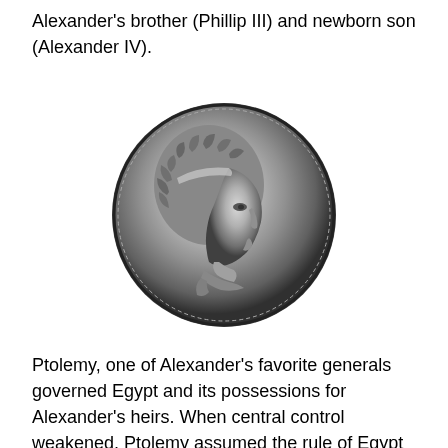Alexander's brother (Phillip III) and newborn son (Alexander IV).
[Figure (photo): Black and white photograph of an ancient Greek coin showing the profile portrait of Ptolemy I, facing right, with curly hair and a diadem, on a round coin with beaded border.]
Ptolemy, one of Alexander's favorite generals governed Egypt and its possessions for Alexander's heirs. When central control weakened, Ptolemy assumed the rule of Egypt in his own right. Though Greek by birth, he adopted the customs of the pharaohs. (Notice the very Greek profile of a coin of the first Ptolemy)